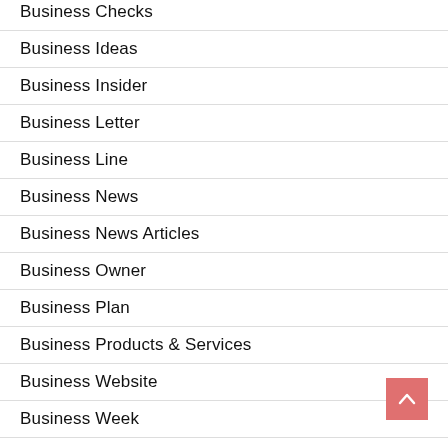Business Checks
Business Ideas
Business Insider
Business Letter
Business Line
Business News
Business News Articles
Business Owner
Business Plan
Business Products & Services
Business Website
Business Week
Clothing & Fashion
Current Technology News